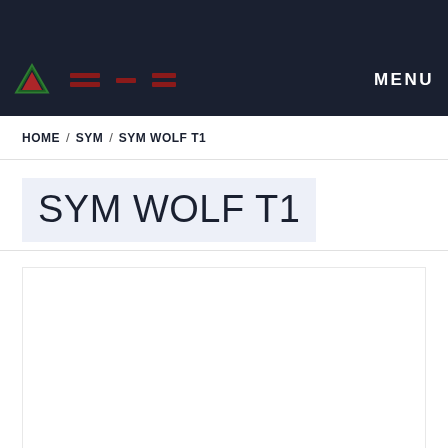[Figure (logo): Navigation bar with dark background (#1a2030), a triangular logo icon in green/red colors on the left, decorative red dash elements in the center-left, and MENU text on the right in white bold capitals]
HOME / SYM / SYM WOLF T1
SYM WOLF T1